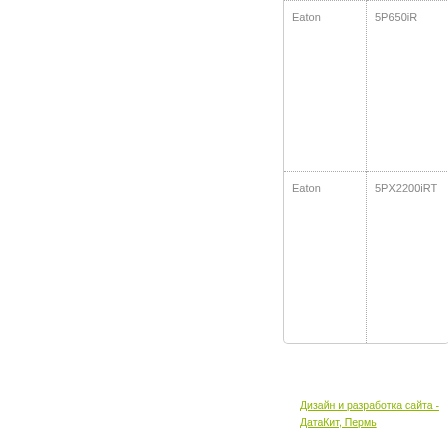| Бренд | Модель |
| --- | --- |
| Eaton | 5P650iR |
| Eaton | 5PX2200iRT |
Дизайн и разработка сайта - ДатаКит, Пермь